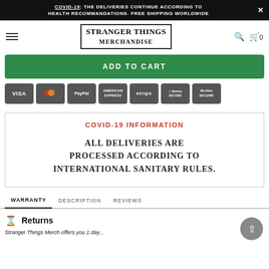COVID-19: THE DELIVERIES CONTINUE ACCORDING TO HEALTH RECOMMANDATIONS- FREE SHIPPING WORLDWIDE
[Figure (screenshot): Stranger Things Merchandise website navigation bar with hamburger menu, brand logo, search icon, and cart icon showing 0 items]
[Figure (screenshot): Green ADD TO CART button]
[Figure (screenshot): Payment method icons: VISA, Mastercard, PayPal, American Express, Stripe, Norton Secured, McAfee SECURE]
COVID-19 INFORMATION
ALL DELIVERIES ARE PROCESSED ACCORDING TO INTERNATIONAL SANITARY RULES.
WARRANTY    DESCRIPTION    REVIEWS
Returns
Stranger Things Merch offers you 1 day...